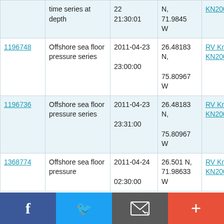|  | time series at depth | 22
21:30:01 | N,
71.9845
W | KN200-4 |
| 1196748 | Offshore sea floor pressure series | 2011-04-23
23:00:00 | 26.48183
N,
75.80967
W | RV Knorr
KN200-4 |
| 1196736 | Offshore sea floor pressure series | 2011-04-23
23:31:00 | 26.48183
N,
75.80967
W | RV Knorr
KN200-4 |
| 1368774 | Offshore sea floor pressure | 2011-04-24
02:30:00 | 26.501 N,
71.98633
W | RV Knorr
KN200-4 |